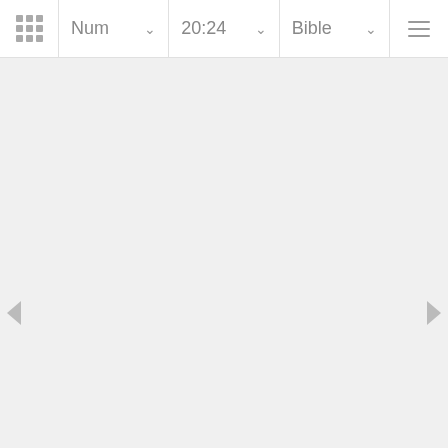Num 20:24 Bible
[Figure (screenshot): Bible app navigation interface with toolbar showing Num 20:24 Bible navigation, left and right arrow buttons on sides, and bottom navigation arrows. Content area is blank/empty.]